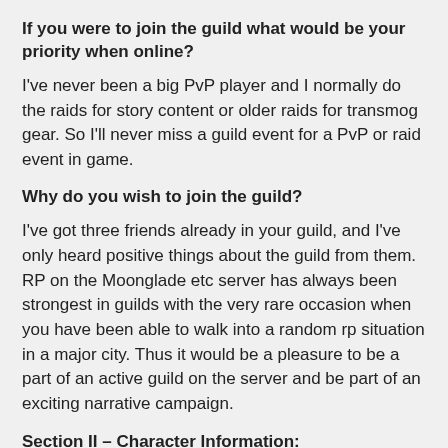If you were to join the guild what would be your priority when online?
I've never been a big PvP player and I normally do the raids for story content or older raids for transmog gear. So I'll never miss a guild event for a PvP or raid event in game.
Why do you wish to join the guild?
I've got three friends already in your guild, and I've only heard positive things about the guild from them. RP on the Moonglade etc server has always been strongest in guilds with the very rare occasion when you have been able to walk into a random rp situation in a major city. Thus it would be a pleasure to be a part of an active guild on the server and be part of an exciting narrative campaign.
Section II - Character Information:
What is your character's name?
Valaax, he no longer discloses or identifies with his family